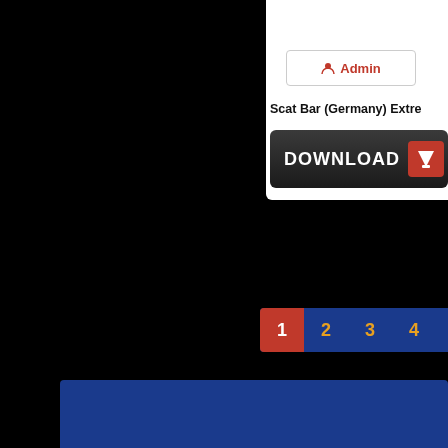[Figure (screenshot): Website screenshot showing partially visible page with black background on the left, a white card panel on the upper right with an Admin button (red icon and text), a bold title 'Scat Bar (Germany) Extre...', a dark Download button with white text and arrow icon, a pagination bar with page numbers 1 (red/active), 2, 3, 4, 5, 6 (blue/orange), and a blue footer bar at the bottom.]